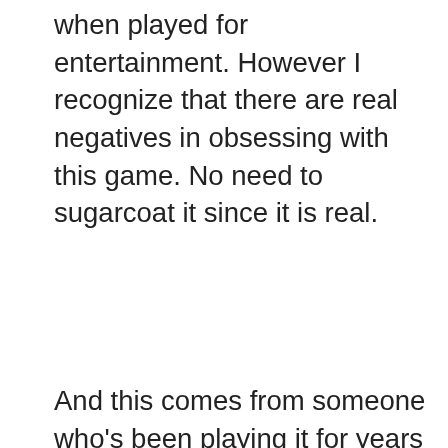when played for entertainment. However I recognize that there are real negatives in obsessing with this game. No need to sugarcoat it since it is real.
And this comes from someone who's been playing it for years now. I just want to tell the truth without much lies, I think people will become more comfortable if we are open to something like this.
[Figure (screenshot): Advertisement banner for Meadows Farms Nurseries and L... featuring logo, 'Delivery & Curbside Available' headline, blue subtext, a directional arrow icon, and close/play controls.]